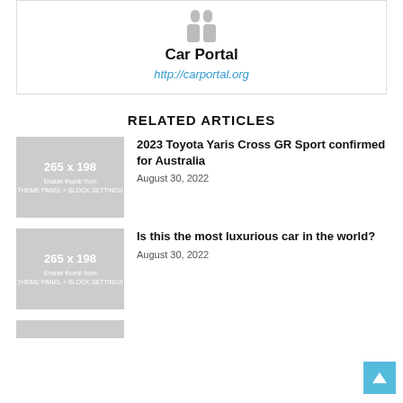[Figure (illustration): Author avatar placeholder icon (grey silhouette)]
Car Portal
http://carportal.org
RELATED ARTICLES
[Figure (photo): Placeholder thumbnail 265 x 198. Enable thumb from THEME PANEL + BLOCK SETTINGS]
2023 Toyota Yaris Cross GR Sport confirmed for Australia
August 30, 2022
[Figure (photo): Placeholder thumbnail 265 x 198. Enable thumb from THEME PANEL + BLOCK SETTINGS]
Is this the most luxurious car in the world?
August 30, 2022